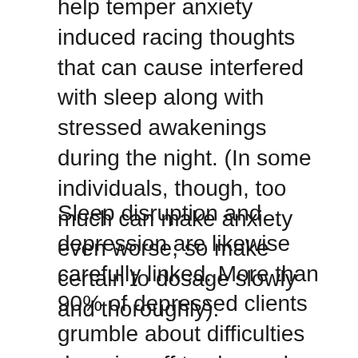help temper anxiety induced racing thoughts that can cause interfered with sleep along with stressed awakenings during the night. (In some individuals, though, too much can make anxiety even worse, so make certain to dosage slowly and thoroughly).
Sleep disruption and depression are likewise carefully linked. More than 90% of depressed clients grumble about difficulties dropping off to sleep, sleep disruption, or early morning awakenings. CBD might enhance their state of mind or their ability to manage the condition overall. CBD can likewise be used to deal with parasomnias, sleep disorders like jaw grinding, sleepwalking, or problems, and it also cuts the time it requires to fall